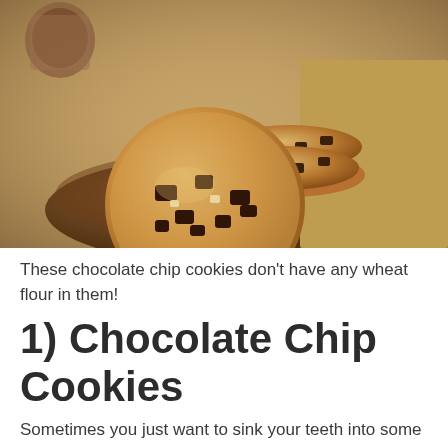[Figure (photo): Stack of chocolate chip cookies on a wooden plate, with burlap fabric in the background]
These chocolate chip cookies don't have any wheat flour in them!
1) Chocolate Chip Cookies
Sometimes you just want to sink your teeth into some freshly baked chocolate